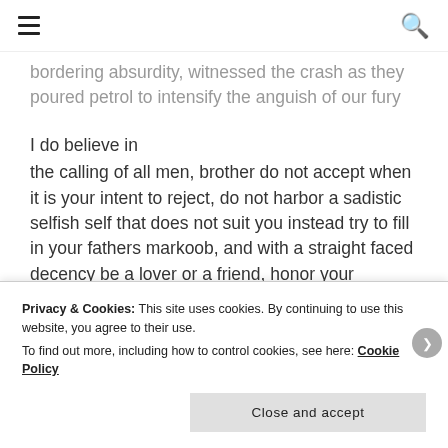☰  🔍
bordering absurdity, witnessed the crash as they poured petrol to intensify the anguish of our fury
I do believe in
the calling of all men, brother do not accept when it is your intent to reject, do not harbor a sadistic selfish self that does not suit you instead try to fill in your fathers markoob, and with a straight faced decency be a lover or a friend, honor your manhood since these daughters of Eve cannot bear, carry and be you
Privacy & Cookies: This site uses cookies. By continuing to use this website, you agree to their use.
To find out more, including how to control cookies, see here: Cookie Policy
Close and accept